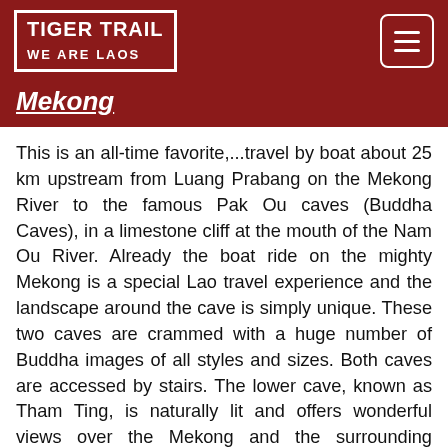TIGER TRAIL WE ARE LAOS
Mekong
This is an all-time favorite,...travel by boat about 25 km upstream from Luang Prabang on the Mekong River to the famous Pak Ou caves (Buddha Caves), in a limestone cliff at the mouth of the Nam Ou River. Already the boat ride on the mighty Mekong is a special Lao travel experience and the landscape around the cave is simply unique. These two caves are crammed with a huge number of Buddha images of all styles and sizes. Both caves are accessed by stairs. The lower cave, known as Tham Ting, is naturally lit and offers wonderful views over the Mekong and the surrounding landscapes. The upper cave, Tham Phum, is deeper, - bring a torch or rent one there. After a